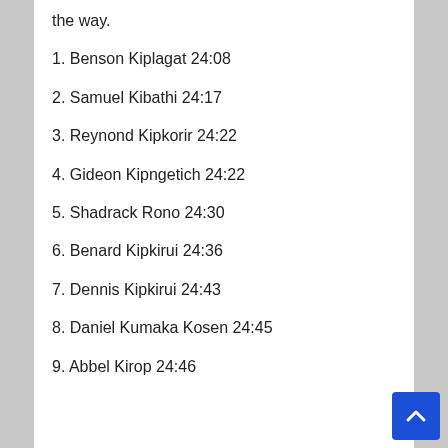the way.
1. Benson Kiplagat 24:08
2. Samuel Kibathi 24:17
3. Reynond Kipkorir 24:22
4. Gideon Kipngetich 24:22
5. Shadrack Rono 24:30
6. Benard Kipkirui 24:36
7. Dennis Kipkirui 24:43
8. Daniel Kumaka Kosen 24:45
9. Abbel Kirop 24:46